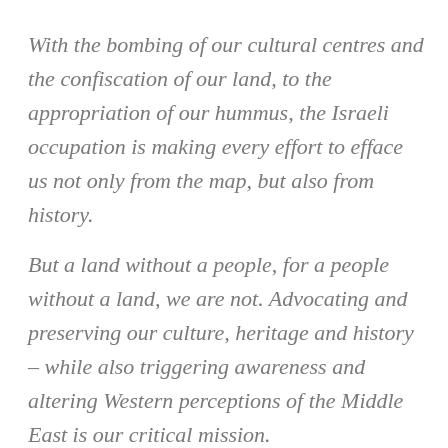With the bombing of our cultural centres and the confiscation of our land, to the appropriation of our hummus, the Israeli occupation is making every effort to efface us not only from the map, but also from history.
But a land without a people, for a people without a land, we are not. Advocating and preserving our culture, heritage and history – while also triggering awareness and altering Western perceptions of the Middle East is our critical mission.